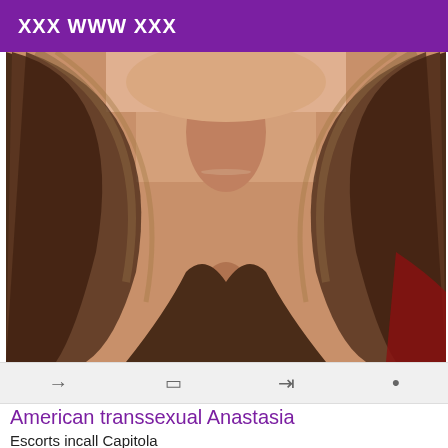XXX WWW XXX
[Figure (photo): Close-up photo of a person with long brown/brunette wavy hair, showing neck and upper chest area, warm skin tone, appears to be wearing a reddish top.]
American transsexual Anastasia
Escorts incall Capitola
I am Anastasia Hormonal American transsexual. Not